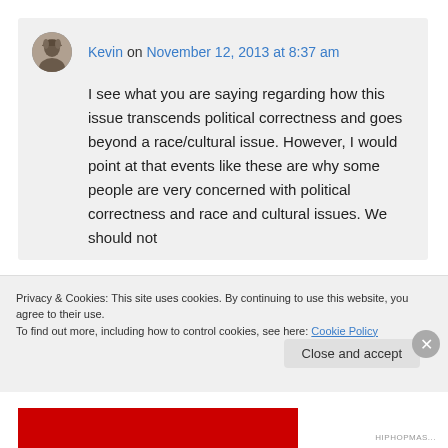Kevin on November 12, 2013 at 8:37 am
I see what you are saying regarding how this issue transcends political correctness and goes beyond a race/cultural issue. However, I would point at that events like these are why some people are very concerned with political correctness and race and cultural issues. We should not
Privacy & Cookies: This site uses cookies. By continuing to use this website, you agree to their use.
To find out more, including how to control cookies, see here: Cookie Policy
Close and accept